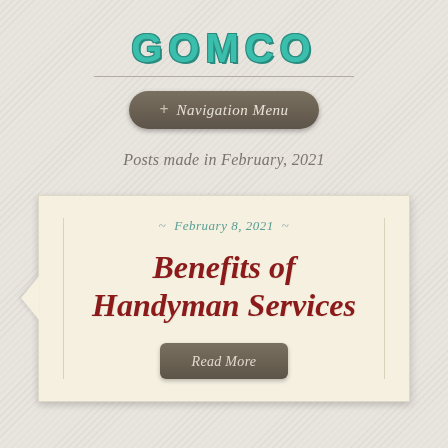GOMCO
Navigation Menu
Posts made in February, 2021
February 8, 2021
Benefits of Handyman Services
Read More